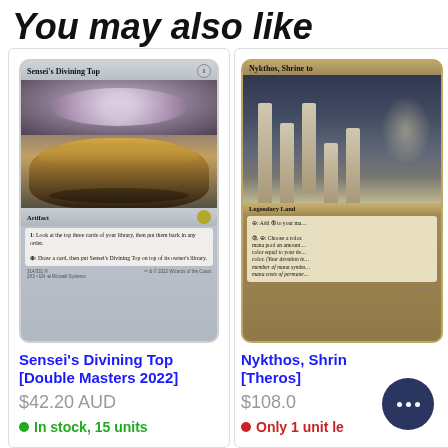You may also like
[Figure (photo): Magic: The Gathering card - Sensei's Divining Top [Double Masters 2022]. Artifact card with a spinning top artwork.]
Sensei's Divining Top [Double Masters 2022]
$42.20 AUD
In stock, 15 units
[Figure (photo): Magic: The Gathering card - Nykthos, Shrine to Nyx [Theros]. Legendary Land card showing ancient Greek-style ruins with columns.]
Nykthos, Shrin [Theros]
$108.0
Only 1 unit le